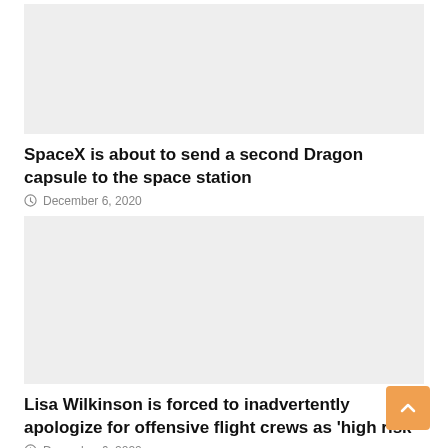[Figure (photo): Placeholder image for SpaceX Dragon capsule article]
SpaceX is about to send a second Dragon capsule to the space station
December 6, 2020
[Figure (photo): Placeholder image for Lisa Wilkinson article]
Lisa Wilkinson is forced to inadvertently apologize for offensive flight crews as 'high risk'
December 6, 2020